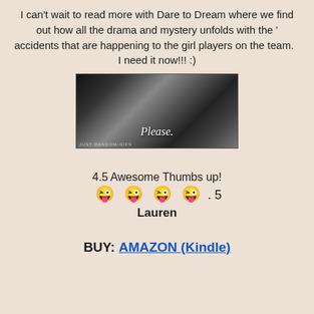I can't wait to read more with Dare to Dream where we find out how all the drama and mystery unfolds with the ' accidents that are happening to the girl players on the team.   I need it now!!! :)
[Figure (photo): Black and white photo of a woman in a car looking sideways with text overlay reading 'Please.' and watermark 'JUST-RANDOM-GIFS']
4.5 Awesome Thumbs up!
😜 😜 😜 😜 . 5
Lauren
BUY: AMAZON (Kindle)